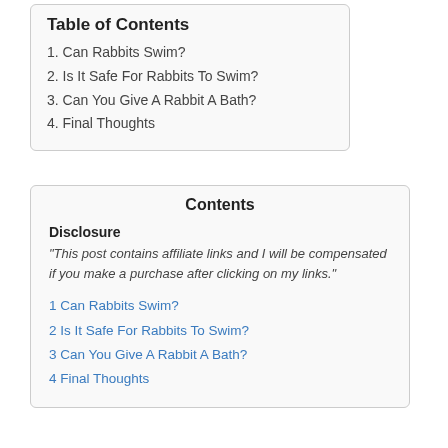Table of Contents
1. Can Rabbits Swim?
2. Is It Safe For Rabbits To Swim?
3. Can You Give A Rabbit A Bath?
4. Final Thoughts
Contents
Disclosure
"This post contains affiliate links and I will be compensated if you make a purchase after clicking on my links."
1 Can Rabbits Swim?
2 Is It Safe For Rabbits To Swim?
3 Can You Give A Rabbit A Bath?
4 Final Thoughts